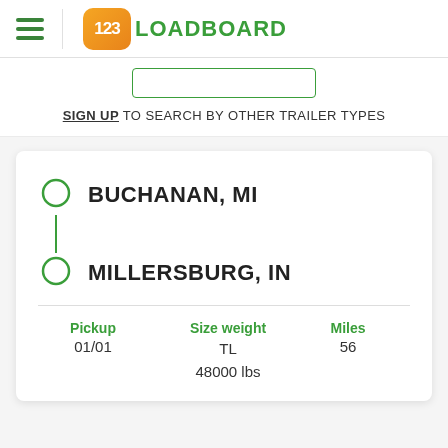123LOADBOARD
SIGN UP TO SEARCH BY OTHER TRAILER TYPES
BUCHANAN, MI → MILLERSBURG, IN
| Pickup | Size weight | Miles |
| --- | --- | --- |
| 01/01 | TL
48000 lbs | 56 |